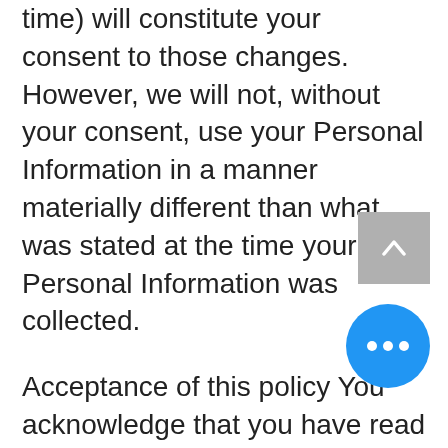time) will constitute your consent to those changes. However, we will not, without your consent, use your Personal Information in a manner materially different than what was stated at the time your Personal Information was collected.
Acceptance of this policy You acknowledge that you have read this Policy and agree to all its terms and conditions. By accessing and using the Website and Services you agree to be bound by this Policy. If you do not agree to abide by the terms of this Policy, you are not authorized to access or use the Website and Services.Contacting usIf you would like to contact us to understand more about this Policy or wish to contact us concerning any